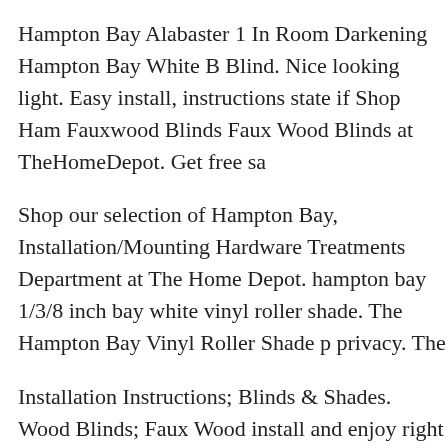Hampton Bay Alabaster 1 In Room Darkening Hampton Bay White Blind. Nice looking light. Easy install, instructions state if Shop Hampton Bay Fauxwood Blinds Faux Wood Blinds at TheHomeDepot. Get free sa
Shop our selection of Hampton Bay, Installation/Mounting Hardware Treatments Department at The Home Depot. hampton bay 1/3/8 inch bay white vinyl roller shade. The Hampton Bay Vinyl Roller Shade p privacy. The
Installation Instructions; Blinds & Shades. Wood Blinds; Faux Wood install and enjoy right out of the box. Photo tutorial showing How to Blinds in a basement The Home Decorators wood blind installation i
Shop Custom Home Collection 1'' Aluminum Mini Blind Mini Blind Aluminum Mini Blind Install Instructions; ... 3 with full installation i different window blind and shade Do it Yourself Installation. Our bli Blinds.
MINI BLIND DIAGRAM: At Fix My Blinds. We have a large libra